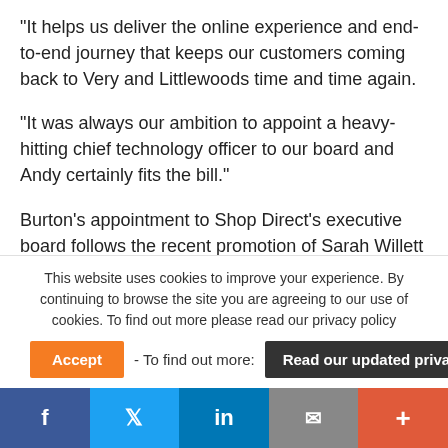“It helps us deliver the online experience and end-to-end journey that keeps our customers coming back to Very and Littlewoods time and time again.
“It was always our ambition to appoint a heavy-hitting chief technology officer to our board and Andy certainly fits the bill.”
Burton’s appointment to Shop Direct’s executive board follows the recent promotion of Sarah Willett to the position of group people director and the arrival of
This website uses cookies to improve your experience. By continuing to browse the site you are agreeing to our use of cookies. To find out more please read our privacy policy
Accept - To find out more: Read our updated privacy